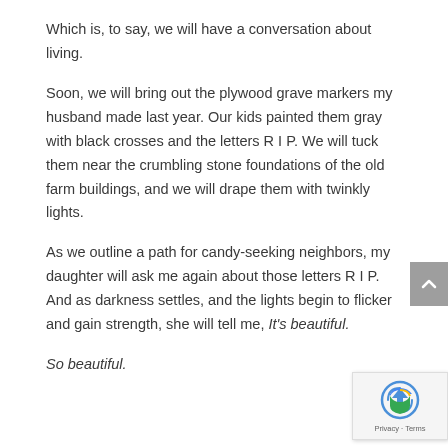Which is, to say, we will have a conversation about living.
Soon, we will bring out the plywood grave markers my husband made last year. Our kids painted them gray with black crosses and the letters R I P. We will tuck them near the crumbling stone foundations of the old farm buildings, and we will drape them with twinkly lights.
As we outline a path for candy-seeking neighbors, my daughter will ask me again about those letters R I P. And as darkness settles, and the lights begin to flicker and gain strength, she will tell me, It's beautiful.
So beautiful.